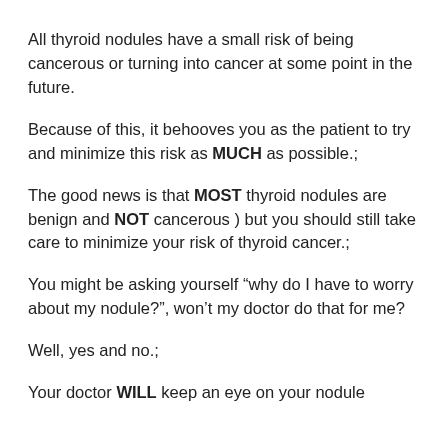All thyroid nodules have a small risk of being cancerous or turning into cancer at some point in the future.
Because of this, it behooves you as the patient to try and minimize this risk as MUCH as possible.;
The good news is that MOST thyroid nodules are benign and NOT cancerous ) but you should still take care to minimize your risk of thyroid cancer.;
You might be asking yourself “why do I have to worry about my nodule?”, won’t my doctor do that for me?
Well, yes and no.;
Your doctor WILL keep an eye on your nodule